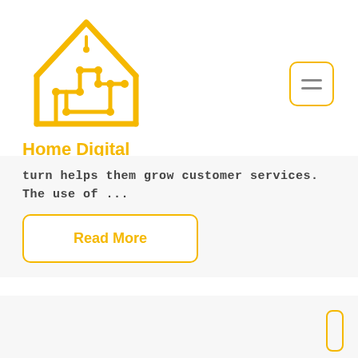[Figure (logo): Home Digital logo: a yellow circuit-board style house icon above the text 'Home Digital' in gold/yellow]
turn helps them grow customer services. The use of ...
Read More